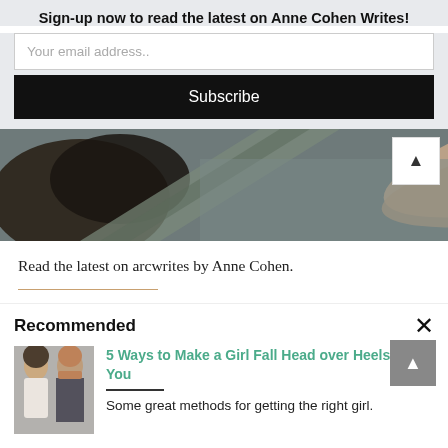Sign-up now to read the latest on Anne Cohen Writes!
Your email address..
Subscribe
[Figure (photo): Partial aerial or close-up photo showing hair and a road or surface, cropped banner image for Anne Cohen Writes blog]
Read the latest on arcwrites by Anne Cohen.
Recommended
[Figure (photo): Photo of a woman with dark hair and a man with a beard standing back to back]
5 Ways to Make a Girl Fall Head over Heels for You
Some great methods for getting the right girl.